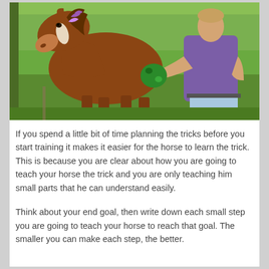[Figure (photo): A brown horse with purple ribbons in its mane leans down toward a person in a purple shirt who is holding a green ball/object in a grassy field.]
If you spend a little bit of time planning the tricks before you start training it makes it easier for the horse to learn the trick. This is because you are clear about how you are going to teach your horse the trick and you are only teaching him small parts that he can understand easily.
Think about your end goal, then write down each small step you are going to teach your horse to reach that goal.  The smaller you can make each step, the better.